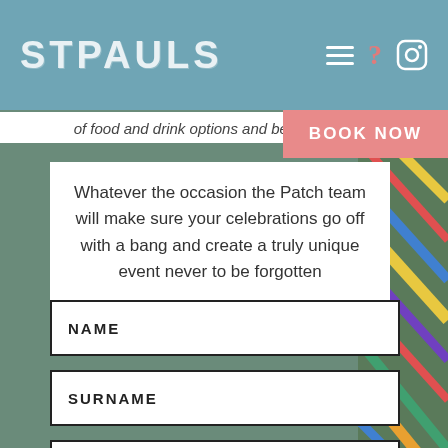STPAULS
of food and drink options and bespoke packages
BOOK NOW
Whatever the occasion the Patch team will make sure your celebrations go off with a bang and create a truly unique event never to be forgotten
NAME
SURNAME
EMAIL